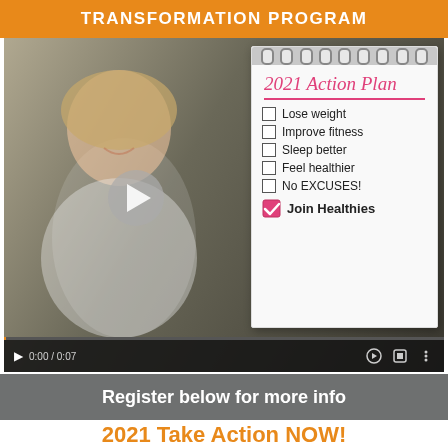TRANSFORMATION PROGRAM
[Figure (screenshot): Video thumbnail showing a smiling middle-aged blonde woman in white shirt on left, and a notepad on the right with '2021 Action Plan' checklist including: Lose weight, Improve fitness, Sleep better, Feel healthier, No EXCUSES!, Join Healthies (checked). A play button is visible in the center. Video controls bar at bottom shows 0:00 / 0:07.]
Register below for more info
2021 Take Action NOW!